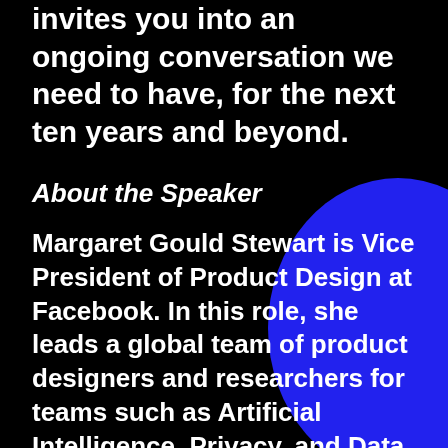invites you into an ongoing conversation we need to have, for the next ten years and beyond.
About the Speaker
Margaret Gould Stewart is Vice President of Product Design at Facebook. In this role, she leads a global team of product designers and researchers for teams such as Artificial Intelligence, Privacy, and Data Use. She also oversees Facebook's Responsible Innovation